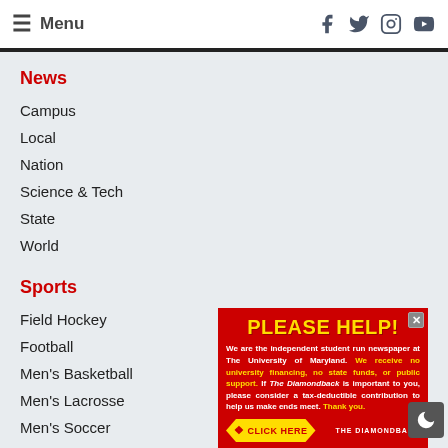Menu (hamburger nav) with social icons: Facebook, Twitter, Instagram, YouTube
News
Campus
Local
Nation
Science & Tech
State
World
Sports
Field Hockey
Football
Men's Basketball
Men's Lacrosse
Men's Soccer
Women's Basketball
Women's Lacrosse
Women's Soccer
Volleyball
[Figure (infographic): Red advertisement popup: PLEASE HELP! We are the independent student run newspaper at The University of Maryland. We receive no university financing, no state funds, or public support. If The Diamondback is important to you, please consider a tax-deductible contribution to help us make ends meet. Thank you. CLICK HERE button and The Diamondback logo.]